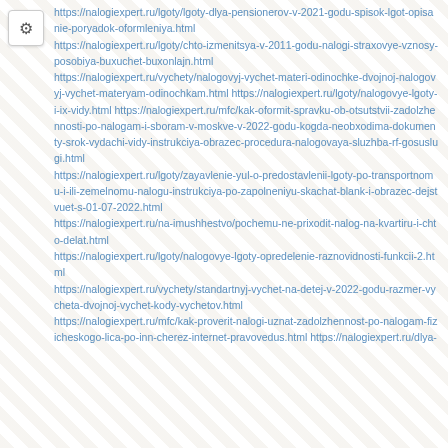https://nalogiexpert.ru/lgoty/lgoty-dlya-pensionerov-v-2021-godu-spisok-lgot-opisanie-poryadok-oformleniya.html
https://nalogiexpert.ru/lgoty/chto-izmenitsya-v-2011-godu-nalogi-straxovye-vznosy-posobiya-buxuchet-buxonlajn.html
https://nalogiexpert.ru/vychety/nalogovyj-vychet-materi-odinochke-dvojnoj-nalogovyj-vychet-materyam-odinochkam.html
https://nalogiexpert.ru/lgoty/nalogovye-lgoty-i-ix-vidy.html
https://nalogiexpert.ru/mfc/kak-oformit-spravku-ob-otsutstvii-zadolzhennosti-po-nalogam-i-sboram-v-moskve-v-2022-godu-kogda-neobxodima-dokumenty-srok-vydachi-vidy-instrukciya-obrazec-procedura-nalogovaya-sluzhba-rf-gosuslugi.html
https://nalogiexpert.ru/lgoty/zayavlenie-yul-o-predostavlenii-lgoty-po-transportnomu-i-ili-zemelnomu-nalogu-instrukciya-po-zapolneniyu-skachat-blank-i-obrazec-dejstvuet-s-01-07-2022.html
https://nalogiexpert.ru/na-imushhestvo/pochemu-ne-prixodit-nalog-na-kvartiru-i-chto-delat.html
https://nalogiexpert.ru/lgoty/nalogovye-lgoty-opredelenie-raznovidnosti-funkcii-2.html
https://nalogiexpert.ru/vychety/standartnyj-vychet-na-detej-v-2022-godu-razmer-vycheta-dvojnoj-vychet-kody-vychetov.html
https://nalogiexpert.ru/mfc/kak-proverit-nalogi-uznat-zadolzhennost-po-nalogam-fizicheskogo-lica-po-inn-cherez-internet-pravovedus.html
https://nalogiexpert.ru/dlya-